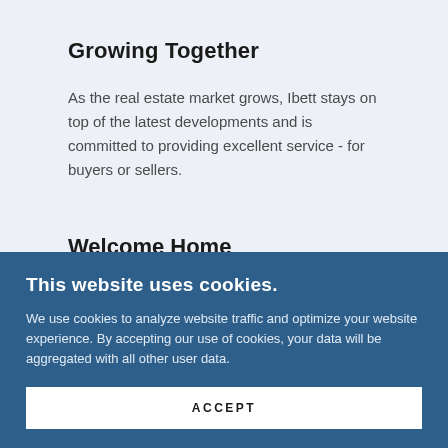Growing Together
As the real estate market grows, Ibett stays on top of the latest developments and is committed to providing excellent service - for buyers or sellers.
Welcome Home
This website uses cookies.
We use cookies to analyze website traffic and optimize your website experience. By accepting our use of cookies, your data will be aggregated with all other user data.
ACCEPT